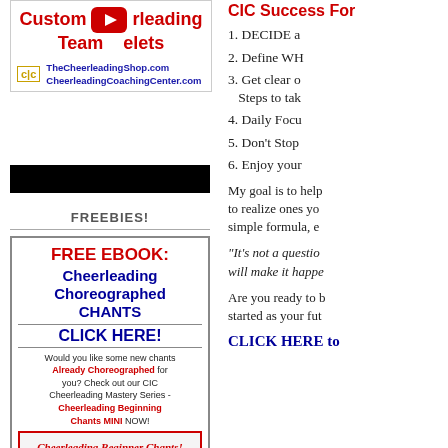[Figure (screenshot): Advertisement for Custom Cheerleading Team Bracelets with YouTube play button overlay, CIC logo, TheCheerleadingShop.com and CheerleadingCoachingCenter.com URLs]
[Figure (other): Black bar/banner]
FREEBIES!
[Figure (screenshot): FREE EBOOK: Cheerleading Choreographed CHANTS CLICK HERE! advertisement box with image of Cheerleading Beginner Chants book]
CIC Success For
1. DECIDE a
2. Define WH
3. Get clear o Steps to tak
4. Daily Focu
5. Don't Stop
6. Enjoy your
My goal is to help to realize ones yo simple formula, e
“It’s not a questio will make it happe
Are you ready to b started as your fut
CLICK HERE to